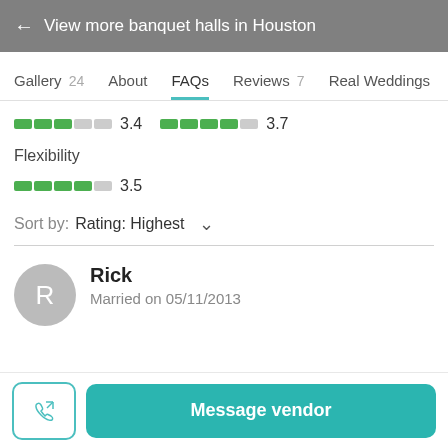← View more banquet halls in Houston
Gallery 24   About   FAQs   Reviews 7   Real Weddings
[Figure (other): Rating bar showing 3.4 and 3.7 scores with green segmented bars]
Flexibility
[Figure (other): Flexibility rating bar showing 3.5 score with green segmented bar]
Sort by:  Rating: Highest
Rick
Married on 05/11/2013
Message vendor